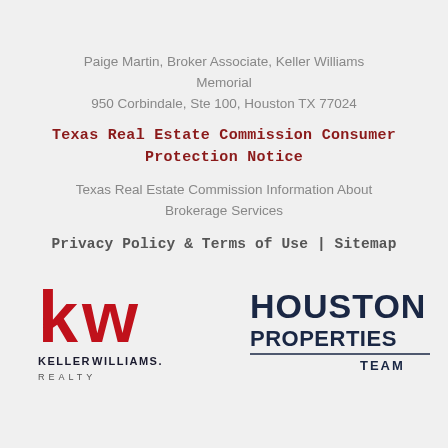Paige Martin, Broker Associate, Keller Williams Memorial
950 Corbindale, Ste 100, Houston TX 77024
Texas Real Estate Commission Consumer Protection Notice
Texas Real Estate Commission Information About Brokerage Services
Privacy Policy & Terms of Use | Sitemap
[Figure (logo): Keller Williams Realty logo — stylized red and black 'kw' letters with KELLERWILLIAMS. REALTY text below]
[Figure (logo): Houston Properties Team logo — dark navy bold text HOUSTON PROPERTIES TEAM with horizontal line above TEAM]